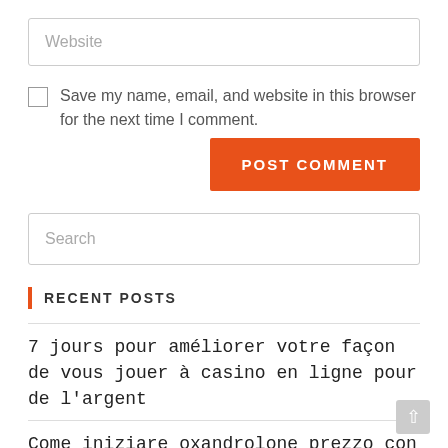Website
Save my name, email, and website in this browser for the next time I comment.
POST COMMENT
Search
RECENT POSTS
7 jours pour améliorer votre façon de vous jouer à casino en ligne pour de l'argent
Come iniziare oxandrolone prezzo con meno di